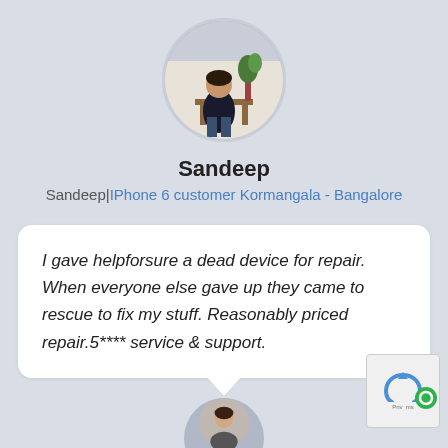[Figure (photo): Circular profile photo of Sandeep, a man in black shirt standing in a room with flowers in background]
Sandeep
Sandeep|IPhone 6 customer Kormangala - Bangalore
I gave helpforsure a dead device for repair. When everyone else gave up they came to rescue to fix my stuff. Reasonably priced repair.5**** service & support.
[Figure (photo): Partial circular profile photo of next reviewer (bottom of page, cropped)]
[Figure (logo): reCAPTCHA badge with Privacy and Terms text, bottom right corner]